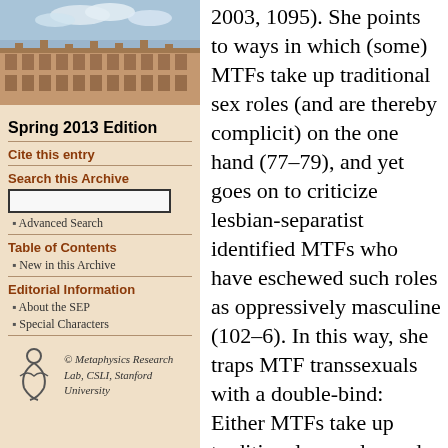[Figure (photo): Photograph of a historic university building with sandstone architecture and courtyard, under a partly cloudy sky]
Spring 2013 Edition
Cite this entry
Search this Archive
Advanced Search
Table of Contents
New in this Archive
Editorial Information
About the SEP
Special Characters
© Metaphysics Research Lab, CSLI, Stanford University
2003, 1095). She points to ways in which (some) MTFs take up traditional sex roles (and are thereby complicit) on the one hand (77–79), and yet goes on to criticize lesbian-separatist identified MTFs who have eschewed such roles as oppressively masculine (102–6). In this way, she traps MTF transsexuals with a double-bind: Either MTFs take up traditional sex roles and are thereby sexist or else they eschew these traditional sex roles and are thereby sexist (See Califia 1997, 102, 104–5; Serano 2007, 49). Such a theory isn't equipped to accommodate the actual variable experiences of